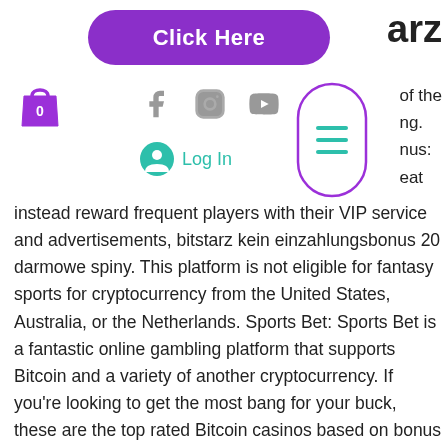[Figure (other): Purple rounded rectangle button with white bold text 'Click Here']
arz
[Figure (other): Purple shopping bag icon with number 0]
[Figure (other): Social media icons: Facebook, Instagram, YouTube in gray]
of the
ng.
nus:
eat
[Figure (other): Purple rounded rectangle menu icon with three horizontal teal lines (hamburger menu)]
[Figure (other): Teal user/account circle icon with Log In text]
instead reward frequent players with their VIP service and advertisements, bitstarz kein einzahlungsbonus 20 darmowe spiny. This platform is not eligible for fantasy sports for cryptocurrency from the United States, Australia, or the Netherlands. Sports Bet: Sports Bet is a fantastic online gambling platform that supports Bitcoin and a variety of another cryptocurrency. If you're looking to get the most bang for your buck, these are the top rated Bitcoin casinos based on bonus size and quality : US Players welcome Games : Slots, Roulette, Baccarat, Live Casino, Lottery Accepting : BTC, LTC, ETH